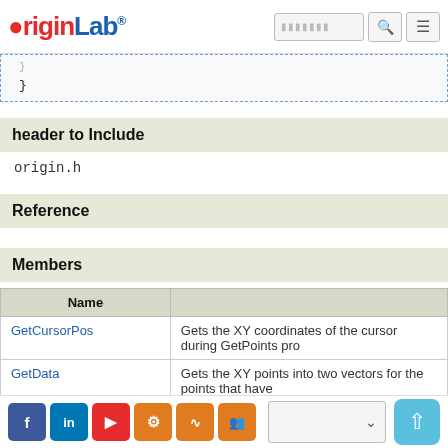OriginLab
header to Include
origin.h
Reference
Members
| Name |  |
| --- | --- |
| GetCursorPos | Gets the XY coordinates of the cursor during GetPoints pro... |
| GetData | Gets the XY points into two vectors for the points that have... |
| GetGraphPoints | Default constructor |
Social links and language selector